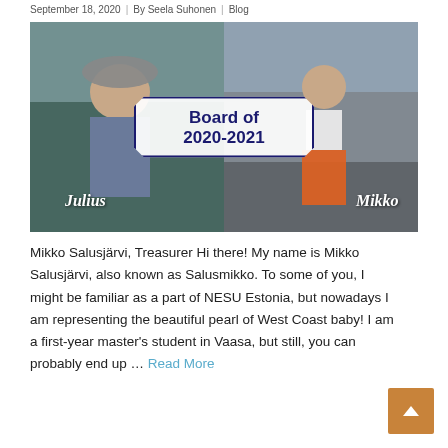September 18, 2020 | By Seela Suhonen | Blog
[Figure (photo): Split photo showing two people labeled 'Julius' and 'Mikko' with a 'Board of 2020-2021' overlay graphic in the center]
Mikko Salusjärvi, Treasurer Hi there! My name is Mikko Salusjärvi, also known as Salusmikko. To some of you, I might be familiar as a part of NESU Estonia, but nowadays I am representing the beautiful pearl of West Coast baby! I am a first-year master's student in Vaasa, but still, you can probably end up … Read More